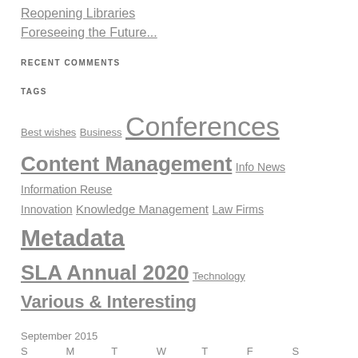Reopening Libraries
Foreseeing the Future...
RECENT COMMENTS
TAGS
Best wishes Business Conferences Content Management Info News Information Reuse Innovation Knowledge Management Law Firms Metadata SLA Annual 2020 Technology Various & Interesting
September 2015
| S | M | T | W | T | F | S |
| --- | --- | --- | --- | --- | --- | --- |
|  |  | 1 | 2 | 3 | 4 | 5 |